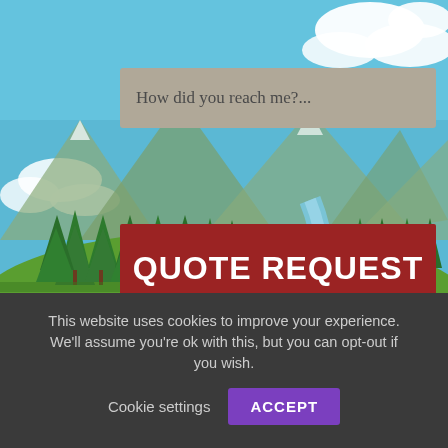[Figure (illustration): Cartoon pastoral scene with sky, clouds, mountains, green meadow, pine trees, a blue river/stream, three cartoon sheep (two white, one black), mushrooms, rocks, and white flowers on grass.]
How did you reach me?...
QUOTE REQUEST
This site is protected by reCAPTCHA and the Google Privacy Policy and Terms of Service apply.
This website uses cookies to improve your experience. We'll assume you're ok with this, but you can opt-out if you wish. Cookie settings ACCEPT